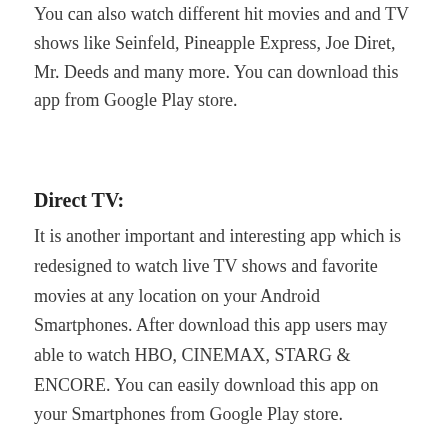You can also watch different hit movies and and TV shows like Seinfeld, Pineapple Express, Joe Diret, Mr. Deeds and many more. You can download this app from Google Play store.
Direct TV:
It is another important and interesting app which is redesigned to watch live TV shows and favorite movies at any location on your Android Smartphones. After download this app users may able to watch HBO, CINEMAX, STARG & ENCORE. You can easily download this app on your Smartphones from Google Play store.